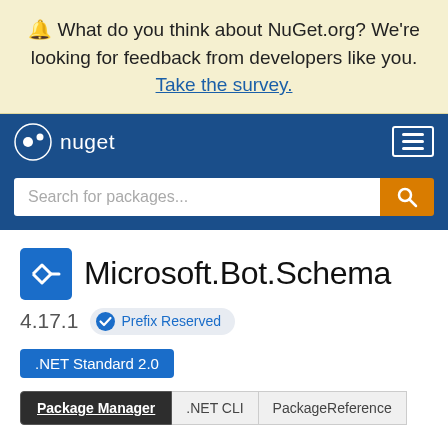🔔 What do you think about NuGet.org? We're looking for feedback from developers like you. Take the survey.
[Figure (logo): NuGet logo and navigation bar with hamburger menu]
Search for packages...
Microsoft.Bot.Schema
4.17.1  ✅ Prefix Reserved
.NET Standard 2.0
Package Manager  .NET CLI  PackageReference